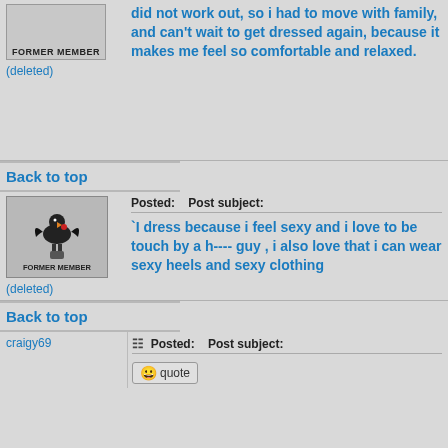did not work out, so i had to move with family, and can't wait to get dressed again, because it makes me feel so comfortable and relaxed.
(deleted)
Back to top
Posted:   Post subject:
`I dress because i feel sexy and i love to be touch by a h---- guy , i also love that i can wear sexy heels and sexy clothing
(deleted)
Back to top
craigy69
Posted:   Post subject:
quote